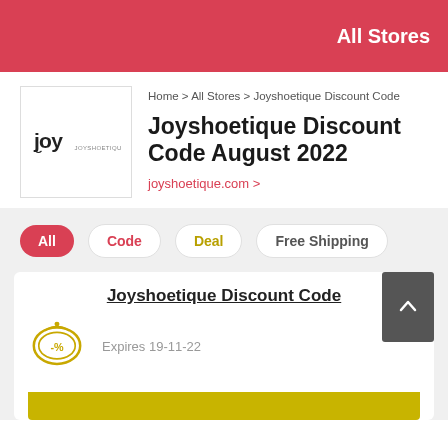All Stores
Home > All Stores > Joyshoetique Discount Code
Joyshoetique Discount Code August 2022
joyshoetique.com >
All
Code
Deal
Free Shipping
Joyshoetique Discount Code
Expires 19-11-22